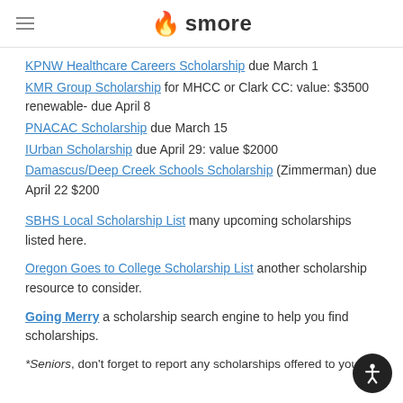smore
KPNW Healthcare Careers Scholarship due March 1
KMR Group Scholarship for MHCC or Clark CC: value: $3500 renewable- due April 8
PNACAC Scholarship due March 15
IUrban Scholarship due April 29: value $2000
Damascus/Deep Creek Schools Scholarship (Zimmerman) due April 22 $200
SBHS Local Scholarship List many upcoming scholarships listed here.
Oregon Goes to College Scholarship List another scholarship resource to consider.
Going Merry a scholarship search engine to help you find scholarships.
*Seniors, don't forget to report any scholarships offered to you: